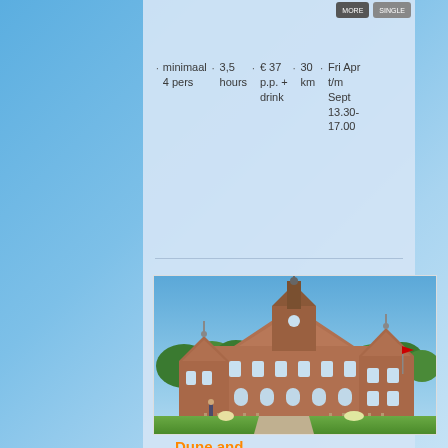minimaal 4 pers · 3,5 hours · € 37 p.p. + drink · 30 km · Fri Apr t/m Sept 13.30-17.00
[Figure (photo): Photograph of a large Dutch castle/manor house (brick, ornate gables, tower with spire) on a sunny day with trees and green lawn in foreground]
Dune and